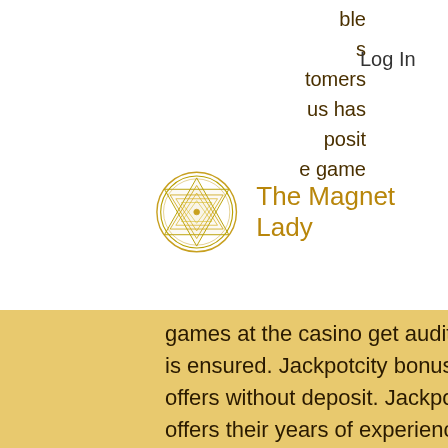Log In
[Figure (logo): The Magnet Lady logo — circular geometric mandala/yantra design in gold tones with text 'The Magnet Lady']
games at the casino get audited frequently by ecogra – so game fairness is ensured. Jackpotcity bonus codes – get free spins &amp; sign up offers without deposit. Jackpotcity online casino established in 1998, offers their years of experience. We have an exclusive jackpotcity bonus for you. Open jackpotcity casino and try 50 free spins on 2 popular games (no deposit needed). The usual promo includes cash prizes, casino credits, free spins, and more. However, sometimes, you have other exciting rewards stacked up, including gadgets. Free spins – this is one of the most frequent bonuses that slot players look.